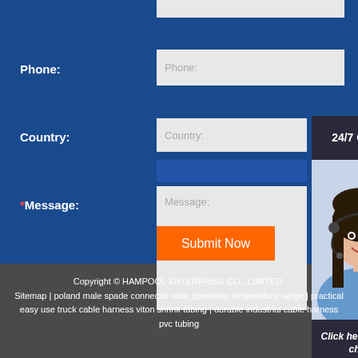Phone:
Phone: (input field)
Country:
Country: (input field)
24/7 Online
[Figure (photo): Customer support woman wearing headset]
*Message:
Message: (textarea field)
Click here for free chat !
QUOTATION
Submit Now
Copyright © HAMPOOL ENTERPRISE CO., LIMITED. Sitemap | poland male spade connector wide operating temperature range | practical easy use truck cable harness viton shrink tubing | durable industrial cable harness pvc tubing